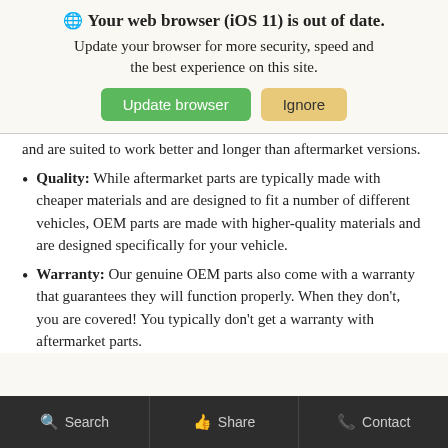[Figure (screenshot): Browser update banner notification with globe icon, bold title 'Your web browser (iOS 11) is out of date.', subtitle 'Update your browser for more security, speed and the best experience on this site.', and two buttons: green 'Update browser' and tan 'Ignore']
and are suited to work better and longer than aftermarket versions.
Quality: While aftermarket parts are typically made with cheaper materials and are designed to fit a number of different vehicles, OEM parts are made with higher-quality materials and are designed specifically for your vehicle.
Warranty: Our genuine OEM parts also come with a warranty that guarantees they will function properly. When they don't, you are covered! You typically don't get a warranty with aftermarket parts.
Search  Share  Contact